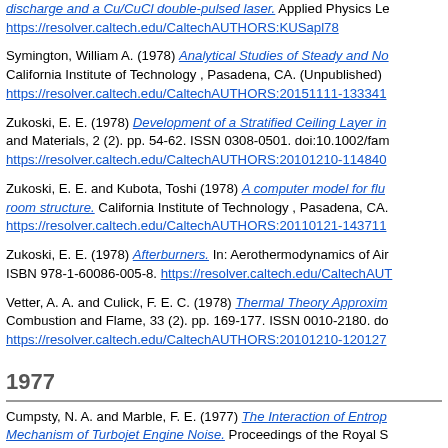discharge and a Cu/CuCl double-pulsed laser. Applied Physics Le... https://resolver.caltech.edu/CaltechAUTHORS:KUSapl78
Symington, William A. (1978) Analytical Studies of Steady and No... California Institute of Technology , Pasadena, CA. (Unpublished) https://resolver.caltech.edu/CaltechAUTHORS:20151111-133341...
Zukoski, E. E. (1978) Development of a Stratified Ceiling Layer in... and Materials, 2 (2). pp. 54-62. ISSN 0308-0501. doi:10.1002/fam... https://resolver.caltech.edu/CaltechAUTHORS:20101210-114840...
Zukoski, E. E. and Kubota, Toshi (1978) A computer model for flu... room structure. California Institute of Technology , Pasadena, CA. https://resolver.caltech.edu/CaltechAUTHORS:20110121-143711...
Zukoski, E. E. (1978) Afterburners. In: Aerothermodynamics of Air... ISBN 978-1-60086-005-8. https://resolver.caltech.edu/CaltechAUT...
Vetter, A. A. and Culick, F. E. C. (1978) Thermal Theory Approxim... Combustion and Flame, 33 (2). pp. 169-177. ISSN 0010-2180. do... https://resolver.caltech.edu/CaltechAUTHORS:20101210-120127...
1977
Cumpsty, N. A. and Marble, F. E. (1977) The Interaction of Entrop... Mechanism of Turbojet Engine Noise. Proceedings of the Royal S... engineering sciences, 357 (1690). pp. 323-344. ISSN 1364-5021. https://resolver.caltech.edu/CaltechAUTHORS:20181213-114...